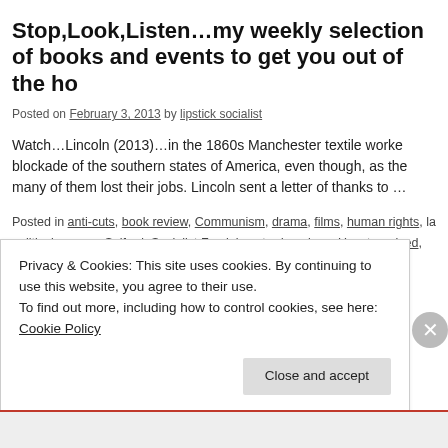Stop,Look,Listen…my weekly selection of books and events to get you out of the house
Posted on February 3, 2013 by lipstick socialist
Watch…Lincoln (2013)…in the 1860s Manchester textile workers supported the blockade of the southern states of America, even though, as the many of them lost their jobs. Lincoln sent a letter of thanks to …
Posted in anti-cuts, book review, Communism, drama, films, human rights, labour, political women, Salford, Socialist Feminism, trade unions, Uncategorized, workers… freedom bookshop, GMATUC, jose saramago, LGBT | 1 Comment
Privacy & Cookies: This site uses cookies. By continuing to use this website, you agree to their use.
To find out more, including how to control cookies, see here: Cookie Policy